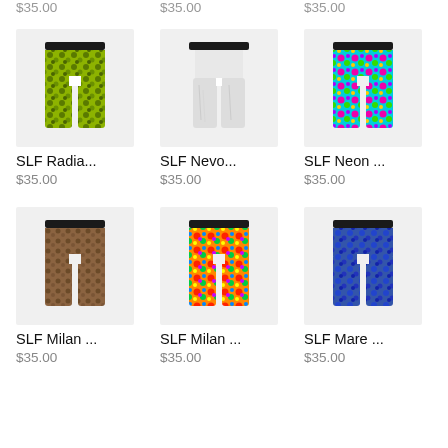$35.00  $35.00  $35.00
[Figure (photo): SLF Radia... product image - green/yellow camo patterned compression pants]
SLF Radia...
$35.00
[Figure (photo): SLF Nevo... product image - white/grey compression pants]
SLF Nevo...
$35.00
[Figure (photo): SLF Neon ... product image - neon pink/blue/green camo compression pants]
SLF Neon ...
$35.00
[Figure (photo): SLF Milan ... product image - brown/tan pattern compression pants]
SLF Milan ...
$35.00
[Figure (photo): SLF Milan ... product image - multicolor bright compression pants]
SLF Milan ...
$35.00
[Figure (photo): SLF Mare ... product image - blue patterned compression pants]
SLF Mare ...
$35.00